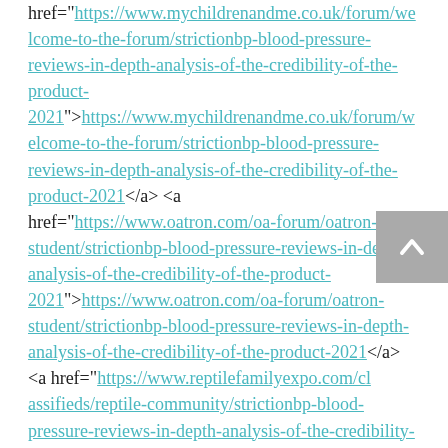href="https://www.mychildrenandme.co.uk/forum/welcome-to-the-forum/strictionbp-blood-pressure-reviews-in-depth-analysis-of-the-credibility-of-the-product-2021">https://www.mychildrenandme.co.uk/forum/welcome-to-the-forum/strictionbp-blood-pressure-reviews-in-depth-analysis-of-the-credibility-of-the-product-2021</a> <a href="https://www.oatron.com/oa-forum/oatron-student/strictionbp-blood-pressure-reviews-in-depth-analysis-of-the-credibility-of-the-product-2021">https://www.oatron.com/oa-forum/oatron-student/strictionbp-blood-pressure-reviews-in-depth-analysis-of-the-credibility-of-the-product-2021</a> <a href="https://www.reptilefamilyexpo.com/classifieds/reptile-community/strictionbp-blood-pressure-reviews-in-depth-analysis-of-the-credibility-of-the-product-2021">https://www.reptilefamilyexpo.com/cl assifieds/reptile-community/strictionbp-